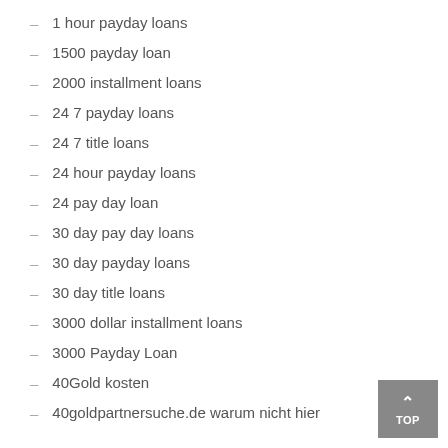1 hour payday loans
1500 payday loan
2000 installment loans
24 7 payday loans
24 7 title loans
24 hour payday loans
24 pay day loan
30 day pay day loans
30 day payday loans
30 day title loans
3000 dollar installment loans
3000 Payday Loan
40Gold kosten
40goldpartnersuche.de warum nicht hier